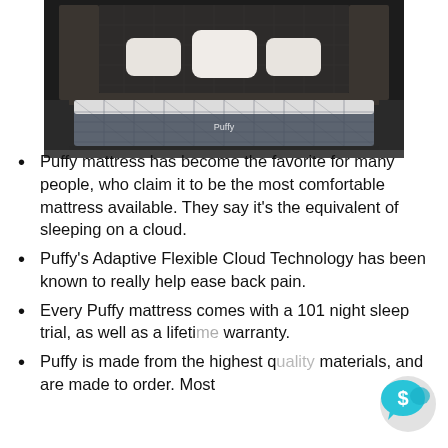[Figure (photo): A Puffy branded mattress on a bed frame with white pillows in a dark stylish bedroom setting]
Puffy mattress has become the favorite for many people, who claim it to be the most comfortable mattress available. They say it’s the equivalent of sleeping on a cloud.
Puffy’s Adaptive Flexible Cloud Technology has been known to really help ease back pain.
Every Puffy mattress comes with a 101 night sleep trial, as well as a lifetime warranty.
Puffy is made from the highest quality materials, and are made to order. Most